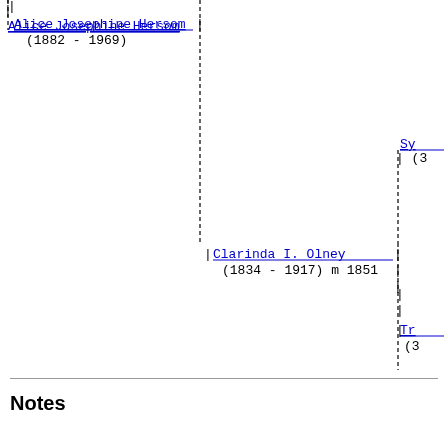[Figure (other): Genealogy family tree diagram showing Alice Josephine Hersom (1882-1969) connected by dashed vertical and horizontal lines to Clarinda I. Olney (1834-1917) m 1851, with partial names visible at right edge: Sy... (3...) and Tr... (3...)]
Notes